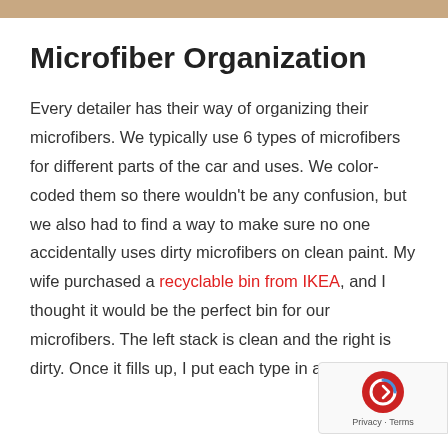[Figure (photo): Partial photo strip visible at the very top of the page, showing a cropped image.]
Microfiber Organization
Every detailer has their way of organizing their microfibers. We typically use 6 types of microfibers for different parts of the car and uses. We color-coded them so there wouldn't be any confusion, but we also had to find a way to make sure no one accidentally uses dirty microfibers on clean paint. My wife purchased a recyclable bin from IKEA, and I thought it would be the perfect bin for our microfibers. The left stack is clean and the right is dirty. Once it fills up, I put each type in a hamper and